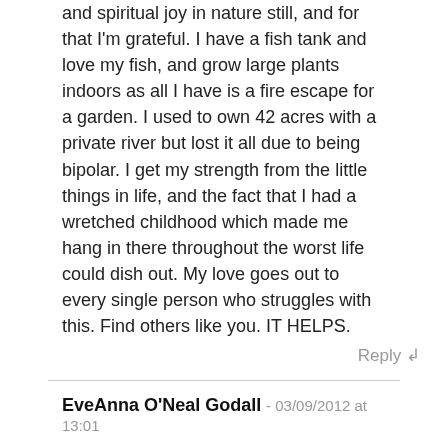and spiritual joy in nature still, and for that I'm grateful. I have a fish tank and love my fish, and grow large plants indoors as all I have is a fire escape for a garden. I used to own 42 acres with a private river but lost it all due to being bipolar. I get my strength from the little things in life, and the fact that I had a wretched childhood which made me hang in there throughout the worst life could dish out. My love goes out to every single person who struggles with this. Find others like you. IT HELPS.
Reply ↲
EveAnna O'Neal Godall - 03/09/2012 at 13:01
this is a very well done documentary, i have always admired stephen fry, i just had my birthday so i made another year without walking into the lake like virginia woolfe did, he is one year older than i, i only have the depression of the deep dark abyss then back to somewhat "normal" functioning, still trying to figure it